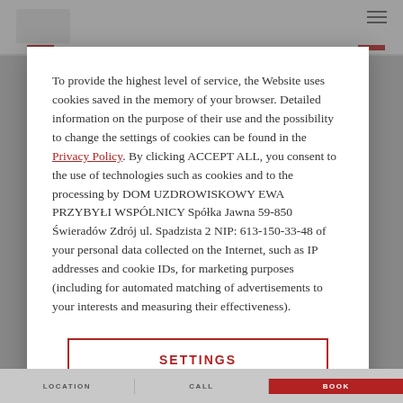To provide the highest level of service, the Website uses cookies saved in the memory of your browser. Detailed information on the purpose of their use and the possibility to change the settings of cookies can be found in the Privacy Policy. By clicking ACCEPT ALL, you consent to the use of technologies such as cookies and to the processing by DOM UZDROWISKOWY EWA PRZYBYŁI WSPÓLNICY Spółka Jawna 59-850 Świeradów Zdrój ul. Spadzista 2 NIP: 613-150-33-48 of your personal data collected on the Internet, such as IP addresses and cookie IDs, for marketing purposes (including for automated matching of advertisements to your interests and measuring their effectiveness).
SETTINGS
ACCEPT ALL